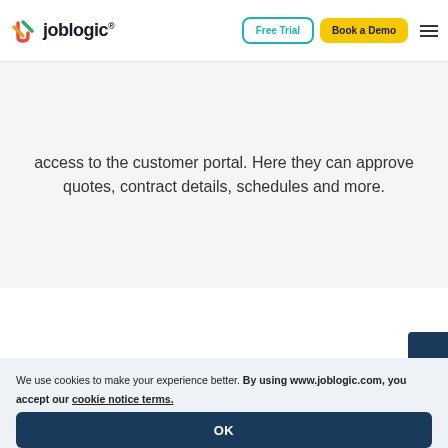Joblogic — Free Trial | Book a Demo
access to the customer portal. Here they can approve quotes, contract details, schedules and more.
We use cookies to make your experience better. By using www.joblogic.com, you accept our cookie notice terms.
OK